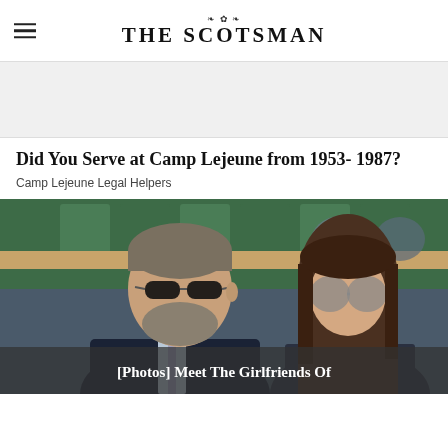THE SCOTSMAN
[Figure (other): Advertisement banner placeholder]
Did You Serve at Camp Lejeune from 1953- 1987?
Camp Lejeune Legal Helpers
[Figure (photo): Two people sitting in stadium seats at what appears to be Wimbledon. An older man wearing sunglasses in a dark suit and a younger woman with long brown hair wearing sunglasses.]
[Photos] Meet The Girlfriends Of